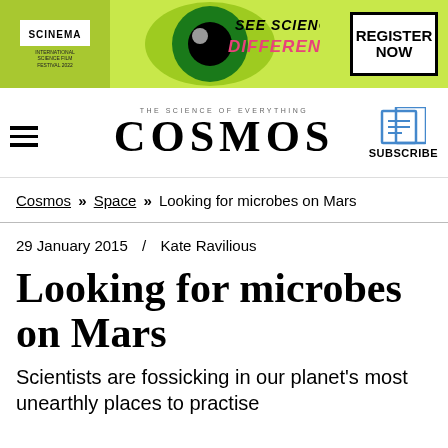[Figure (other): Scinema International Science Film Festival banner ad with green background, stylized eye graphic, 'SEE SCIENCE DIFFERENTLY!' text, and a 'REGISTER NOW' button]
THE SCIENCE OF EVERYTHING
COSMOS
SUBSCRIBE
Cosmos » Space » Looking for microbes on Mars
29 January 2015  /  Kate Ravilious
Looking for microbes on Mars
Scientists are fossicking in our planet's most unearthly places to practise